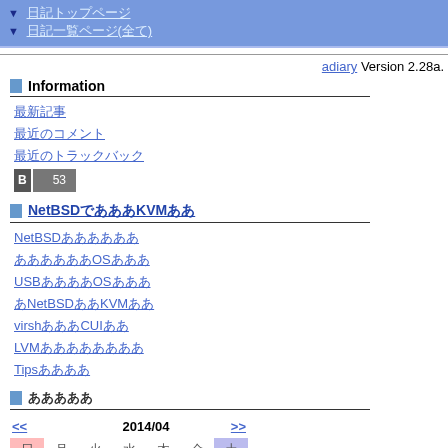▼ 日記トップページ | ▼ 日記一覧ページ(全て)
adiary Version 2.28a.
Information
最新記事
最近のコメント
最近のトラックバック
B 53
NetBSDでKVMを使ってみた
NetBSDのインストール
インストール先のOSの設定
USBブートのOSの設定
NetBSDでKVMの起動
virshを使ったCUIの設定
LVMのボリュームの設定
Tipsと設定
カレンダー
| << | 日 | 月 | 火 | 水 | 木 | 金 | 土 | >> |
| --- | --- | --- | --- | --- | --- | --- | --- | --- |
| << | 2014/04 |  |  |  |  | >> |
| 日 | 月 | 火 | 水 | 木 | 金 | 土 |
|  |  | 1 | 2 | 3 | 4 | 5 |
| 6 | 7 | 8 | 9 | 10 | 11 | 12 |
| 13 | 14 | 15 | 16 | 17 | 18 | 19 |
| 20 | 21 | 22 | 23 | 24 | 25 | 26 |